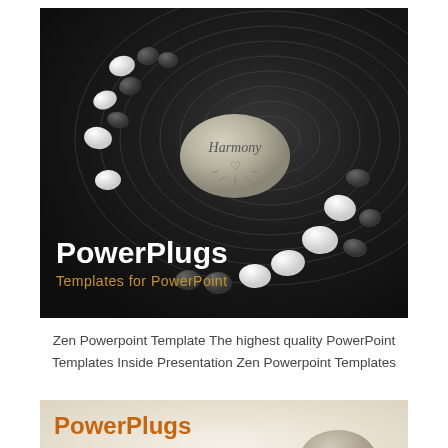[Figure (photo): Dark zen garden with concentric circles raked in black sand, stones arranged in a spiral pattern, and a large 'Harmony' stone in the center. PowerPlugs branding with white bold text and gold subtitle 'Templates for PowerPoint' overlaid on bottom left.]
Zen Powerpoint Template The highest quality PowerPoint Templates Inside Presentation Zen Powerpoint Templates
[Figure (photo): Light beige/cream zen background with stacked smooth stones on the right side. PowerPlugs branding with orange bold text and dark subtitle 'Templates for PowerPoint'.]